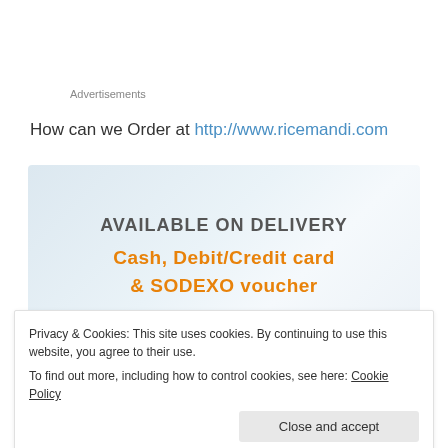Advertisements
How can we Order at http://www.ricemandi.com
[Figure (infographic): Banner image with light blue gradient background showing 'AVAILABLE ON DELIVERY' in bold gray, 'Cash, Debit/Credit card & SODEXO voucher' in orange bold text, and three circular icons (teal, yellow, pink) with payment symbols]
Privacy & Cookies: This site uses cookies. By continuing to use this website, you agree to their use.
To find out more, including how to control cookies, see here: Cookie Policy
Close and accept